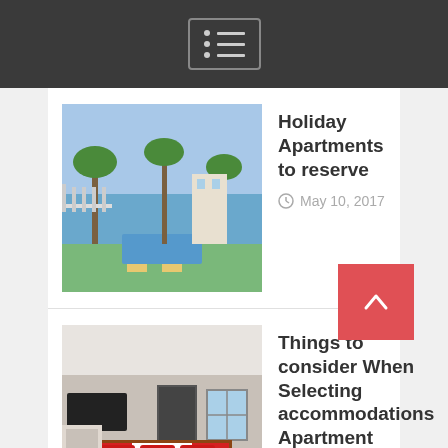[Figure (screenshot): Top navigation bar with dark background and menu icon (list icon with dots and lines)]
[Figure (photo): Thumbnail photo of a holiday resort with palm trees, pool and balcony]
Holiday Apartments to reserve
May 10, 2017
[Figure (photo): Thumbnail photo of a hotel apartment bedroom with red and white bedding, kitchenette]
Things to consider When Selecting accommodations Apartment
April 15, 2017
Search...